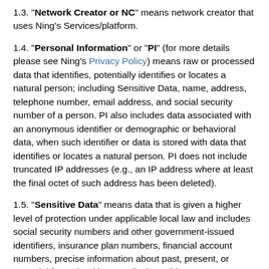1.3. "Network Creator or NC" means network creator that uses Ning's Services/platform.
1.4. "Personal Information" or "PI" (for more details please see Ning's Privacy Policy) means raw or processed data that identifies, potentially identifies or locates a natural person; including Sensitive Data, name, address, telephone number, email address, and social security number of a person. PI also includes data associated with an anonymous identifier or demographic or behavioral data, when such identifier or data is stored with data that identifies or locates a natural person. PI does not include truncated IP addresses (e.g., an IP address where at least the final octet of such address has been deleted).
1.5. "Sensitive Data" means data that is given a higher level of protection under applicable local law and includes social security numbers and other government-issued identifiers, insurance plan numbers, financial account numbers, precise information about past, present, or potential future health or medical conditions or treatments, including genetic, genomic, and family medical history, sexual orientation or other sexual information. In certain jurisdictions such as Australia and European Union, Sensitive Information may also include information that reveals race, financial or criminal history, ethnic origin, political opinions, religious or philosophical beliefs, trade union membership or data concerning an individual and their biometric and genetic data.